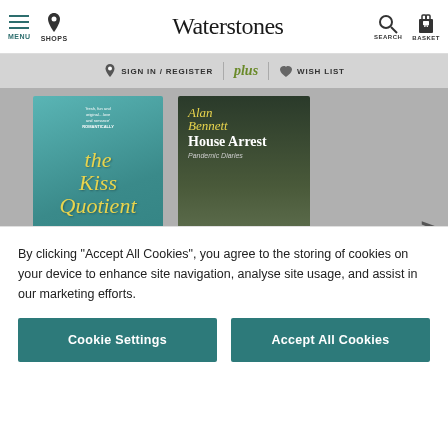Waterstones — MENU | SHOPS | SEARCH | BASKET
SIGN IN / REGISTER | plus | WISH LIST
[Figure (photo): Book covers carousel showing 'The Kiss Quotient' by Helen Hoang (teal cover with yellow script title) and 'House Arrest' by Alan Bennett (dark woodland cover with yellow title) on a grey background, with a right-arrow navigation button]
By clicking "Accept All Cookies", you agree to the storing of cookies on your device to enhance site navigation, analyse site usage, and assist in our marketing efforts.
Cookie Settings
Accept All Cookies